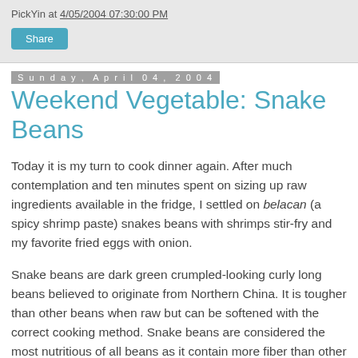PickYin at 4/05/2004 07:30:00 PM
Share
Sunday, April 04, 2004
Weekend Vegetable: Snake Beans
Today it is my turn to cook dinner again. After much contemplation and ten minutes spent on sizing up raw ingredients available in the fridge, I settled on belacan (a spicy shrimp paste) snakes beans with shrimps stir-fry and my favorite fried eggs with onion.
Snake beans are dark green crumpled-looking curly long beans believed to originate from Northern China. It is tougher than other beans when raw but can be softened with the correct cooking method. Snake beans are considered the most nutritious of all beans as it contain more fiber than other types of green beans. The following is the homemade recipe from moi.